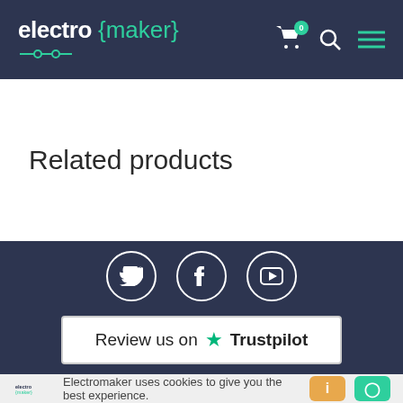electro {maker} — navigation header with cart, search, and menu icons
Related products
[Figure (other): Footer section with dark navy background, social media icons (Twitter, Facebook, YouTube) in white circles, and a Trustpilot review button]
Electromaker uses cookies to give you the best experience.